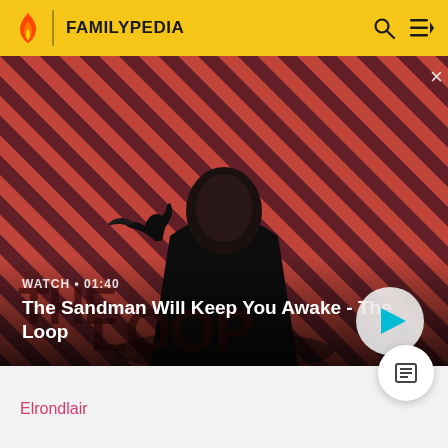FAMILYPEDIA
[Figure (screenshot): Video thumbnail showing a person in dark clothing with a raven on their shoulder, set against a red and dark diagonal stripe background. Text overlay reads 'THE LOOP'. Watch duration shown as 01:40. Play button visible.]
The Sandman Will Keep You Awake - The Loop
Elrondlair